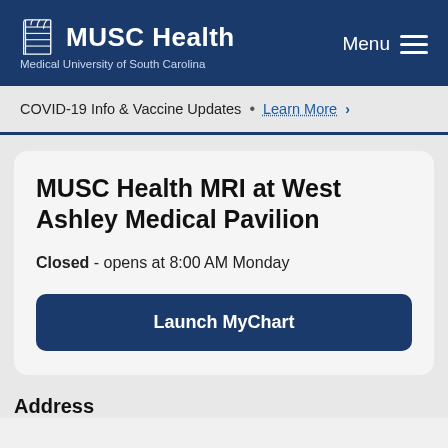[Figure (logo): MUSC Health logo with building icon and text 'Medical University of South Carolina']
COVID-19 Info & Vaccine Updates • Learn More >
MUSC Health MRI at West Ashley Medical Pavilion
Closed - opens at 8:00 AM Monday
Launch MyChart
Address